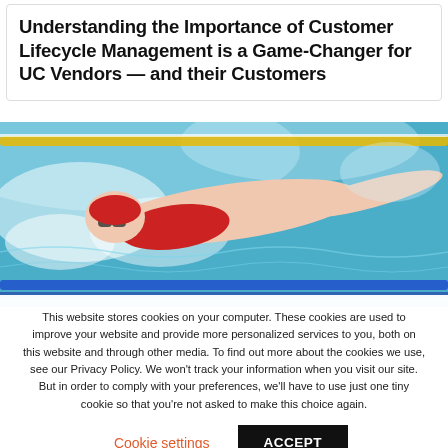Understanding the Importance of Customer Lifecycle Management is a Game-Changer for UC Vendors — and their Customers
[Figure (photo): Underwater photograph of a competitive swimmer mid-stroke in a swimming pool, wearing a red swimsuit and goggles. Yellow and blue lane dividers are visible.]
This website stores cookies on your computer. These cookies are used to improve your website and provide more personalized services to you, both on this website and through other media. To find out more about the cookies we use, see our Privacy Policy. We won't track your information when you visit our site. But in order to comply with your preferences, we'll have to use just one tiny cookie so that you're not asked to make this choice again.